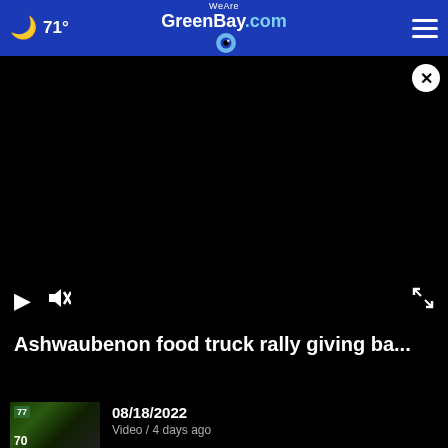🌙 71° | WeAreGreenBay.com
[Figure (screenshot): Black video player area with close button (X), play button, mute button, and fullscreen button]
Ashwaubenon food truck rally giving ba...
08/18/2022
Video / 4 days ago